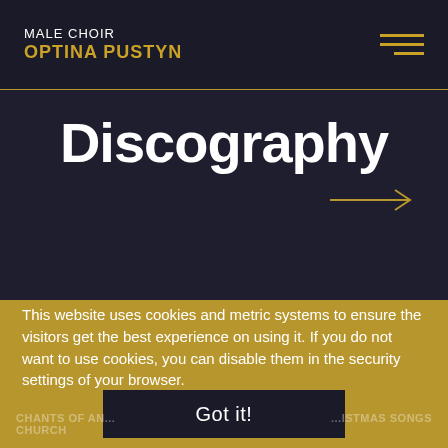MALE CHOIR OPTINA PUSTYN
Discography
This website uses cookies and metric systems to ensure the visitors get the best experience on using it. If you do not want to use cookies, you can disable them in the security settings of your browser.
Got it!
CHANTS OF AN... CHURCH   ...ISTMAS SONGS